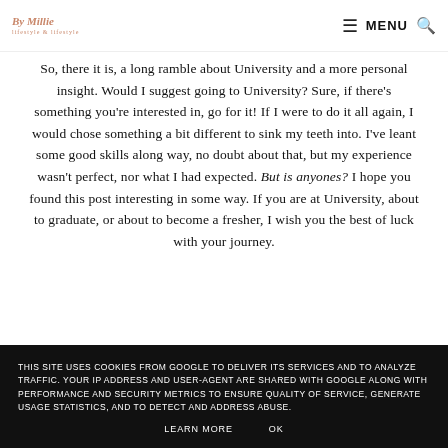By Millie | MENU
So, there it is, a long ramble about University and a more personal insight. Would I suggest going to University? Sure, if there's something you're interested in, go for it! If I were to do it all again, I would chose something a bit different to sink my teeth into. I've leant some good skills along way, no doubt about that, but my experience wasn't perfect, nor what I had expected. But is anyones? I hope you found this post interesting in some way. If you are at University, about to graduate, or about to become a fresher, I wish you the best of luck with your journey.
THIS SITE USES COOKIES FROM GOOGLE TO DELIVER ITS SERVICES AND TO ANALYZE TRAFFIC. YOUR IP ADDRESS AND USER-AGENT ARE SHARED WITH GOOGLE ALONG WITH PERFORMANCE AND SECURITY METRICS TO ENSURE QUALITY OF SERVICE, GENERATE USAGE STATISTICS, AND TO DETECT AND ADDRESS ABUSE.
LEARN MORE    OK